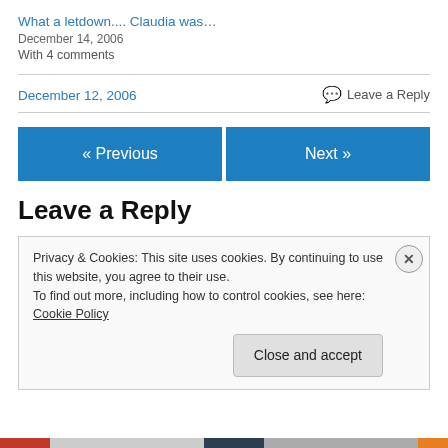What a letdown.... Claudia was…
December 14, 2006
With 4 comments
December 12, 2006
Leave a Reply
« Previous
Next »
Leave a Reply
Privacy & Cookies: This site uses cookies. By continuing to use this website, you agree to their use.
To find out more, including how to control cookies, see here: Cookie Policy
Close and accept